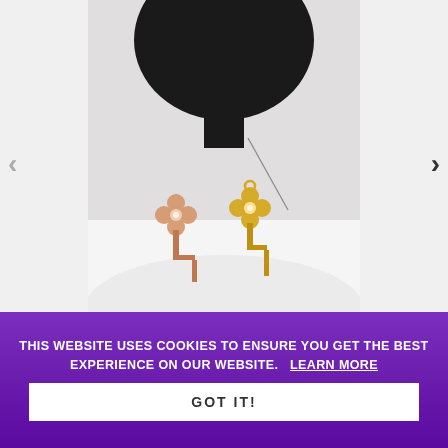[Figure (photo): Product photo showing two flower-shaped nose curve jewelry pieces — one rose gold and one yellow gold — displayed on a white surface with a black mannequin head partially visible at top.]
BEADED NOSE CURVE
18G
SKU SNC18BD-9332
THIS WEBSITE USES COOKIES TO ENSURE YOU GET THE BEST EXPERIENCE ON OUR WEBSITE.  LEARN MORE
GOT IT!